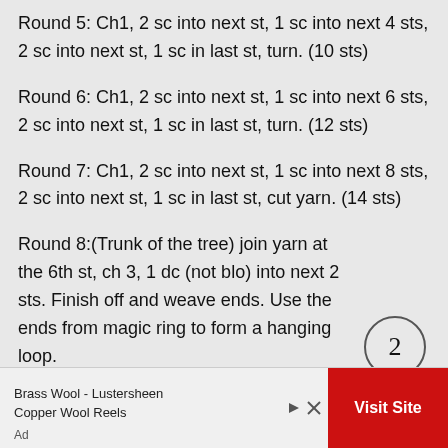Round 5: Ch1, 2 sc into next st, 1 sc into next 4 sts, 2 sc into next st, 1 sc in last st, turn. (10 sts)
Round 6: Ch1, 2 sc into next st, 1 sc into next 6 sts, 2 sc into next st, 1 sc in last st, turn. (12 sts)
Round 7: Ch1, 2 sc into next st, 1 sc into next 8 sts, 2 sc into next st, 1 sc in last st, cut yarn. (14 sts)
Round 8:(Trunk of the tree) join yarn at the 6th st, ch 3, 1 dc (not blo) into next 2 sts. Finish off and weave ends. Use the ends from magic ring to form a hanging loop.
2
Brass Wool - Lustersheen Copper Wool Reels
Ad
Visit Site